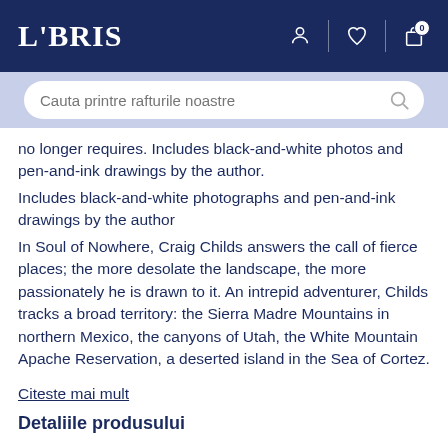LIBRIS
no longer requires. Includes black-and-white photos and pen-and-ink drawings by the author.
Includes black-and-white photographs and pen-and-ink drawings by the author
In Soul of Nowhere, Craig Childs answers the call of fierce places; the more desolate the landscape, the more passionately he is drawn to it. An intrepid adventurer, Childs tracks a broad territory: the Sierra Madre Mountains in northern Mexico, the canyons of Utah, the White Mountain Apache Reservation, a deserted island in the Sea of Cortez.
Citeste mai mult
Detaliile produsului